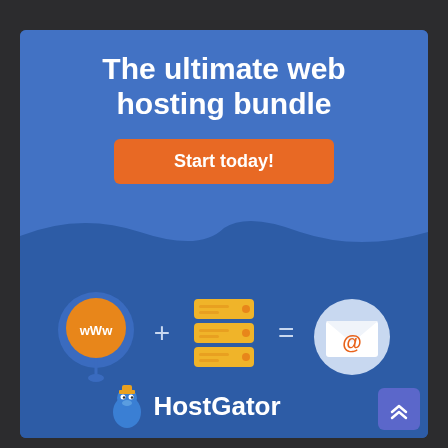The ultimate web hosting bundle
Start today!
[Figure (illustration): HostGator web hosting bundle advertisement showing a www domain balloon icon plus a server stack icon equals an email envelope with @ symbol, and HostGator logo at the bottom]
HostGator